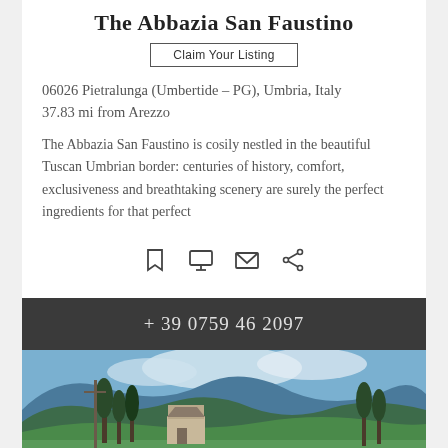The Abbazia San Faustino
Claim Your Listing
06026 Pietralunga (Umbertide – PG), Umbria, Italy
37.83 mi from Arezzo
The Abbazia San Faustino is cosily nestled in the beautiful Tuscan Umbrian border: centuries of history, comfort, exclusiveness and breathtaking scenery are surely the perfect ingredients for that perfect
[Figure (infographic): Row of four icons: bookmark, monitor/screen, envelope, share]
+ 39 0759 46 2097
[Figure (photo): Landscape photo of rolling green hills and mountains with a stone building and tall cypress trees in the foreground under a partly cloudy blue sky]